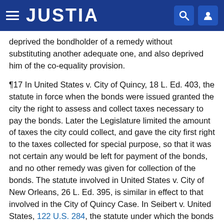JUSTIA
deprived the bondholder of a remedy without substituting another adequate one, and also deprived him of the co-equality provision.
¶17 In United States v. City of Quincy, 18 L. Ed. 403, the statute in force when the bonds were issued granted the city the right to assess and collect taxes necessary to pay the bonds. Later the Legislature limited the amount of taxes the city could collect, and gave the city first right to the taxes collected for special purpose, so that it was not certain any would be left for payment of the bonds, and no other remedy was given for collection of the bonds. The statute involved in United States v. City of New Orleans, 26 L. Ed. 395, is similar in effect to that involved in the City of Quincy Case. In Seibert v. United States, 122 U.S. 284, the statute under which the bonds were issued entitled the bondholder to be paid by a tax to be levied and collected in the same manner as county